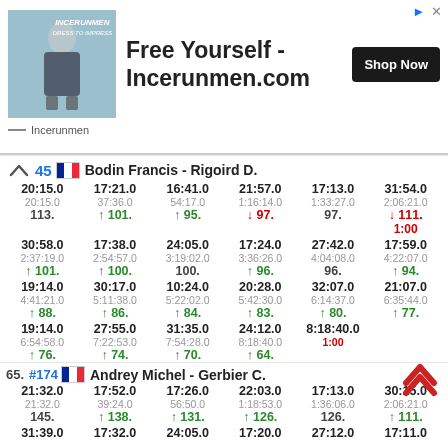[Figure (other): Advertisement banner for Incerunmen.com: 'Free Yourself - Incerunmen.com' with product image, Shop Now button]
45 🇫🇷 Bodin Francis - Rigoird D.
| 20:15.0 | 17:21.0 | 16:41.0 | 21:57.0 | 17:13.0 | 31:54.0 |
| 20:15.0 | 37:36.0 | 54:17.0 | 1:16:14.0 | 1:33:27.0 | 2:06:21.0 |
| 113. | ↑101. | ↑95. | ↓97. | 97. | ↓111. |
|  |  |  |  |  | 1:00 |
| 30:58.0 | 17:38.0 | 24:05.0 | 17:24.0 | 27:42.0 | 17:59.0 |
| 2:37:19.0 | 2:54:57.0 | 3:19:02.0 | 3:36:26.0 | 4:04:08.0 | 4:22:07.0 |
| ↑101. | ↑100. | 100. | ↑96. | 96. | ↑94. |
| 19:14.0 | 30:17.0 | 10:24.0 | 20:28.0 | 32:07.0 | 21:07.0 |
| 4:41:21.0 | 5:11:38.0 | 5:22:02.0 | 5:42:30.0 | 6:14:37.0 | 6:35:44.0 |
| ↑88. | ↑86. | ↑84. | ↑83. | ↑80. | ↑77. |
| 19:14.0 | 27:55.0 | 31:35.0 | 24:12.0 | 8:18:40.0 |  |
| 6:54:58.0 | 7:22:53.0 | 7:54:28.0 | 8:18:40.0 | 1:00 |  |
| ↑76. | ↑74. | ↑70. | ↑64. |  |  |
65. #174 🇫🇷 Andrey Michel - Gerbier C.
| 21:32.0 | 17:52.0 | 17:26.0 | 22:03.0 | 17:13.0 | 30:15.0 |
| 21:32.0 | 39:24.0 | 56:50.0 | 1:18:53.0 | 1:36:06.0 | 2:06:21.0 |
| 145. | ↑138. | ↑131. | ↑126. | 126. | ↑111. |
| 31:39.0 | 17:32.0 | 24:05.0 | 17:20.0 | 27:12.0 | 17:11.0 |